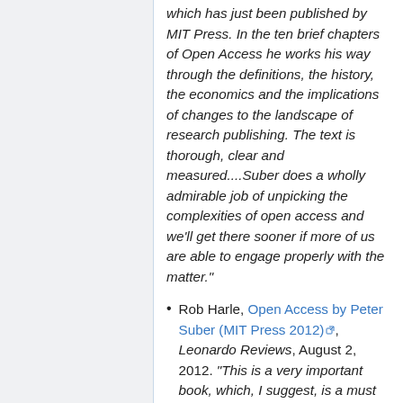which has just been published by MIT Press. In the ten brief chapters of Open Access he works his way through the definitions, the history, the economics and the implications of changes to the landscape of research publishing. The text is thorough, clear and measured....Suber does a wholly admirable job of unpicking the complexities of open access and we'll get there sooner if more of us are able to engage properly with the matter."
Rob Harle, Open Access by Peter Suber (MIT Press 2012) [external link], Leonardo Reviews, August 2, 2012. "This is a very important book, which, I suggest, is a must read for all scholars and researchers who